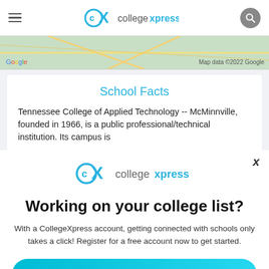collegexpress
[Figure (map): Google Maps strip showing road/terrain map with Google logo and 'Map data ©2022 Google' attribution]
School Facts
Tennessee College of Applied Technology -- McMinnville, founded in 1966, is a public professional/technical institution. Its campus is
[Figure (logo): CollegeXpress logo with 'cx' icon in teal and text 'collegexpress']
Working on your college list?
With a CollegeXpress account, getting connected with schools only takes a click! Register for a free account now to get started.
Join CollegeXpress